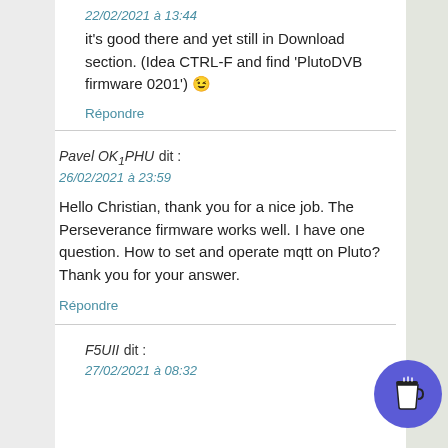22/02/2021 à 13:44
it's good there and yet still in Download section. (Idea CTRL-F and find 'PlutoDVB firmware 0201') 😉
Répondre
Pavel OK1PHU dit :
26/02/2021 à 23:59
Hello Christian, thank you for a nice job. The Perseverance firmware works well. I have one question. How to set and operate mqtt on Pluto? Thank you for your answer.
Répondre
F5UII dit :
27/02/2021 à 08:32
[Figure (illustration): Round blue button with a coffee cup icon]